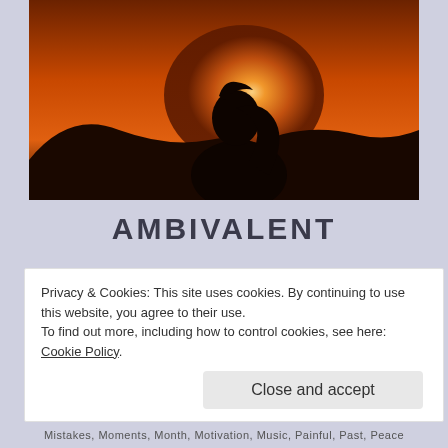[Figure (photo): Silhouette of a person with long ponytail hair against a warm orange sunset sky with hills in the background]
AMBIVALENT
Maybe you weren't the one for me,
but deep down I wanted you to be. 🙂
Privacy & Cookies: This site uses cookies. By continuing to use this website, you agree to their use.
To find out more, including how to control cookies, see here: Cookie Policy
Mistakes, Moments, Month, Motivation, Music, Painful, Past, Peace